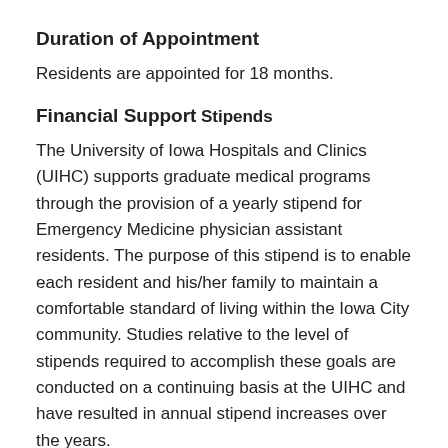Duration of Appointment
Residents are appointed for 18 months.
Financial Support
Stipends
The University of Iowa Hospitals and Clinics (UIHC) supports graduate medical programs through the provision of a yearly stipend for Emergency Medicine physician assistant residents. The purpose of this stipend is to enable each resident and his/her family to maintain a comfortable standard of living within the Iowa City community. Studies relative to the level of stipends required to accomplish these goals are conducted on a continuing basis at the UIHC and have resulted in annual stipend increases over the years.